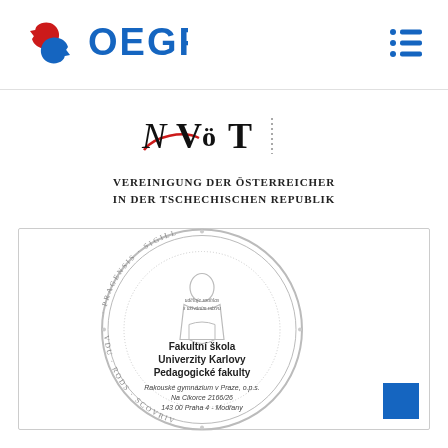[Figure (logo): OEGP logo - circular arrows in red and blue with text OEGP in blue]
[Figure (logo): Blue list/menu icon with three horizontal lines and dots]
[Figure (logo): VöT logo - Vereinigung der Österreicher in der Tschechischen Republik, with stylized script and serif text]
[Figure (illustration): Charles University seal stamp showing Fakultní škola Univerzity Karlovy Pedagogické fakulty, Rakouské gymnázium v Praze, o.p.s., Na Cikorce 2166/26, 143 00 Praha 4 - Modřany]